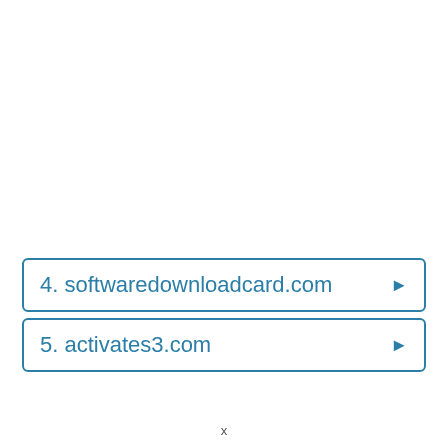4. softwaredownloadcard.com
5. activates3.com
x